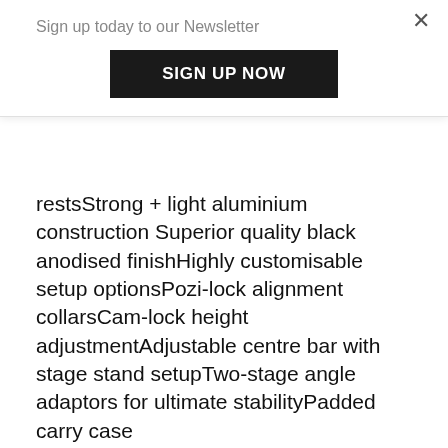Sign up today to our Newsletter
[Figure (other): Black button with text SIGN UP NOW]
restsStrong + light aluminium construction Superior quality black anodised finishHighly customisable setup optionsPozi-lock alignment collarsCam-lock height adjustmentAdjustable centre bar with stage stand setupTwo-stage angle adaptors for ultimate stabilityPadded carry case
Out of stock
SKU: HC0048
Categories: Rod Pods, Banksticks & Rests, Sale, Sonik, Xmas